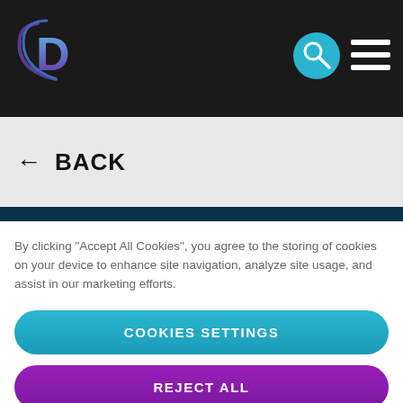[Figure (logo): D logo with blue and purple swoosh elements on dark background, with search icon (blue circle with magnifying glass) and hamburger menu (three horizontal lines) on the right]
← BACK
By clicking "Accept All Cookies", you agree to the storing of cookies on your device to enhance site navigation, analyze site usage, and assist in our marketing efforts.
COOKIES SETTINGS
REJECT ALL